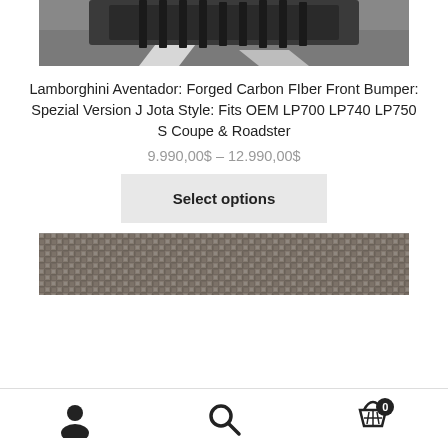[Figure (photo): Black and white photo of the rear underside of a Lamborghini Aventador on asphalt, showing carbon fiber diffuser]
Lamborghini Aventador: Forged Carbon FIber Front Bumper: Spezial Version J Jota Style: Fits OEM LP700 LP740 LP750 S Coupe & Roadster
9.990,00$ – 12.990,00$
Select options
[Figure (photo): Close-up of carbon fiber weave texture in dark gray/brown tones]
User account | Search | Cart (0)